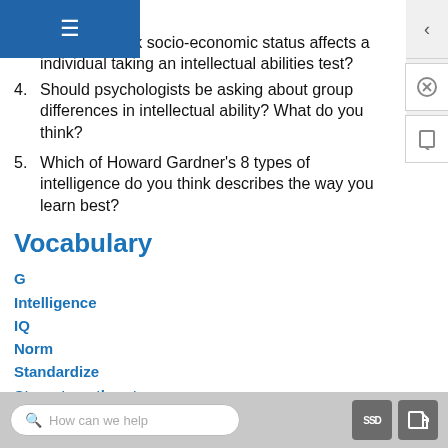lgment? hw do you think socio-economic status affects an individual taking an intellectual abilities test?
4. Should psychologists be asking about group differences in intellectual ability? What do you think?
5. Which of Howard Gardner’s 8 types of intelligence do you think describes the way you learn best?
Vocabulary
G
Intelligence
IQ
Norm
Standardize
Stereotype threat